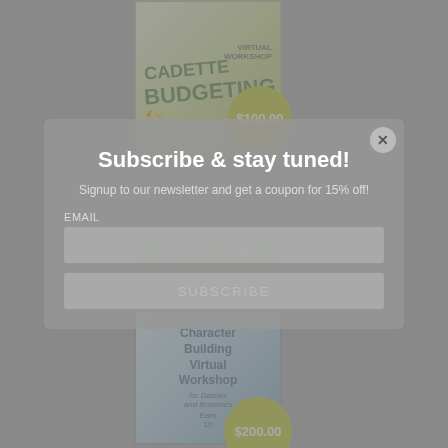[Figure (screenshot): Cadette Budgeting Virtual Workshop product image with green text and coins graphic, price badge showing $100.00]
Cadette Budgeting Workshop – For Troops
[Figure (other): Quick View button (green)]
Subscribe & stay tuned!
Signup to our newsletter and get a coupon for 15% off!
EMAIL
[Figure (screenshot): Character Building Virtual Workshop product image, price badge showing $200.00]